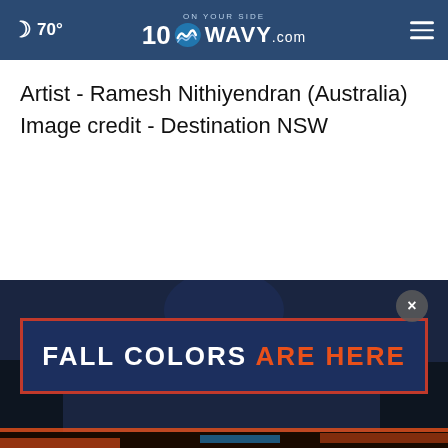70° WAVY.com On Your Side
Artist - Ramesh Nithiyendran (Australia) Image credit - Destination NSW
[Figure (screenshot): Advertisement banner at bottom of page showing 'FALL COLORS ARE HERE' text with city nightscape background and a close button (×). White text 'FALL COLORS' and orange text 'ARE HERE' on dark navy/blue background with red border.]